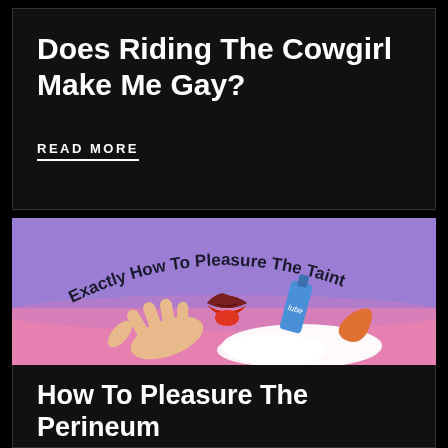Does Riding The Cowgirl Make Me Gay?
READ MORE
[Figure (illustration): Illustrated graphic with curved text reading 'Exactly How To Pleasure The Taint' arched over cartoon depictions of a hand with long fingers, a red mouth/lips with tongue, a tube of lube, and a pink crescent shape, on a purple and pink background.]
How To Pleasure The Perineum
By now you've probably heard of the P-spot– after all, prostate orgasms